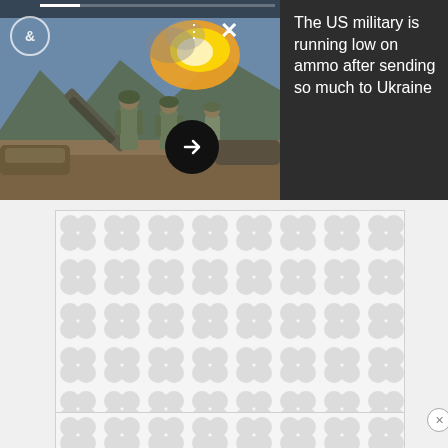[Figure (photo): Screenshot of a news card widget showing US soldiers firing a howitzer artillery gun with explosion of fire, overlaid with a dark panel containing headline text. A circular ampersand logo, three-dot menu, and X close button are visible on the image. An arrow button in a black circle appears at the bottom of the image.]
The US military is running low on ammo after sending so much to Ukraine
[Figure (other): Advertisement placeholder with repeating light gray blob/peanut pattern on white background, shown in a bordered rectangle]
[Figure (other): Second advertisement placeholder with repeating light gray blob/peanut pattern on white background, shown in a smaller bordered rectangle at the bottom]